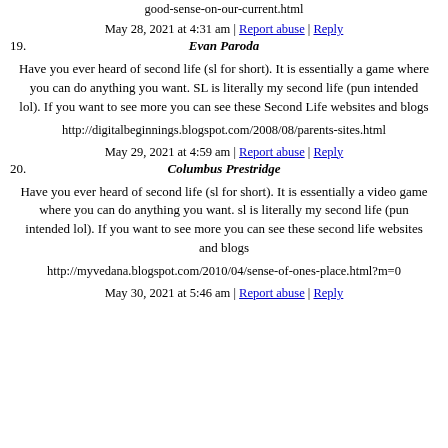good-sense-on-our-current.html
May 28, 2021 at 4:31 am | Report abuse | Reply
19. Evan Paroda
Have you ever heard of second life (sl for short). It is essentially a game where you can do anything you want. SL is literally my second life (pun intended lol). If you want to see more you can see these Second Life websites and blogs
http://digitalbeginnings.blogspot.com/2008/08/parents-sites.html
May 29, 2021 at 4:59 am | Report abuse | Reply
20. Columbus Prestridge
Have you ever heard of second life (sl for short). It is essentially a video game where you can do anything you want. sl is literally my second life (pun intended lol). If you want to see more you can see these second life websites and blogs
http://myvedana.blogspot.com/2010/04/sense-of-ones-place.html?m=0
May 30, 2021 at 5:46 am | Report abuse | Reply